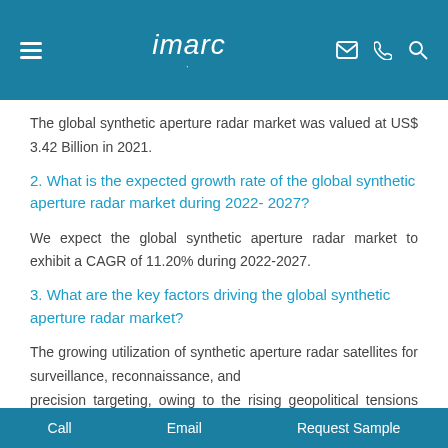imarc
The global synthetic aperture radar market was valued at US$ 3.42 Billion in 2021.
2. What is the expected growth rate of the global synthetic aperture radar market during 2022- 2027?
We expect the global synthetic aperture radar market to exhibit a CAGR of 11.20% during 2022-2027.
3. What are the key factors driving the global synthetic aperture radar market?
The growing utilization of synthetic aperture radar satellites for surveillance, reconnaissance, and precision targeting, owing to the rising geopolitical tensions and
Call   Email   Request Sample